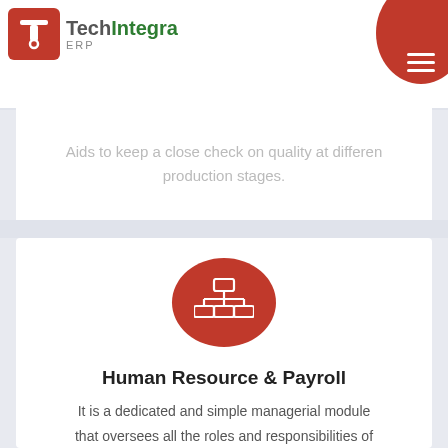[Figure (logo): TechIntegra ERP logo with red icon and green/grey text]
Aids to keep a close check on quality at different production stages.
[Figure (illustration): Red circle with white organizational chart / network hierarchy icon]
Human Resource & Payroll
It is a dedicated and simple managerial module that oversees all the roles and responsibilities of